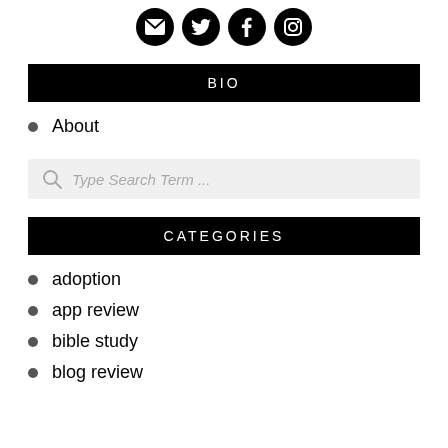[Figure (infographic): Four social media icons (email, Twitter, Facebook, Instagram) as black circles with white symbols, displayed in a row]
BIO
About
[Figure (screenshot): Search bar with magnifying glass icon and placeholder text 'Type Search Term ...']
CATEGORIES
adoption
app review
bible study
blog review